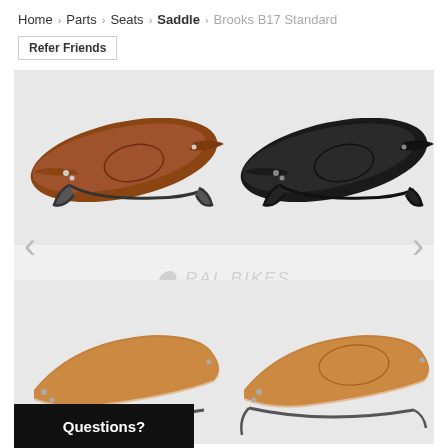Home > Parts > Seats > Saddle > Brooks B17 Standard
Refer Friends
[Figure (photo): Product gallery showing four Brooks B17 Standard saddles: top-left brown leather, top-right black leather, bottom-left light brown leather side view, bottom-right light brown leather side view. Left and right navigation arrows visible. RAL BIKES watermark in center. Navigation arrows on sides.]
Questions?